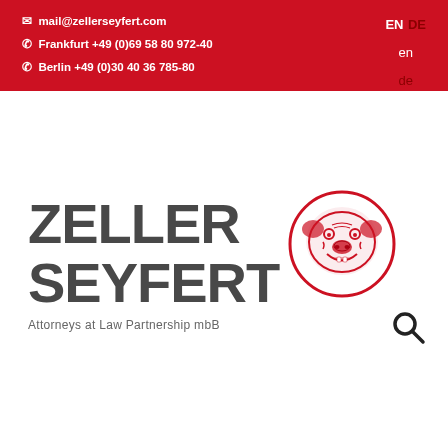mail@zellerseyfert.com | Frankfurt +49 (0)69 58 80 972-40 | Berlin +49 (0)30 40 36 785-80 | EN DE en de
[Figure (logo): Zeller Seyfert Attorneys at Law Partnership mbB logo with bulldog illustration in red circle]
Attorneys at Law Partnership mbB